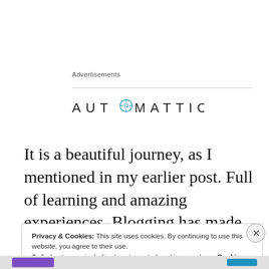Advertisements
[Figure (logo): Automattic logo with compass icon in the letter O]
It is a beautiful journey, as I mentioned in my earlier post. Full of learning and amazing experiences. Blogging has made me bloom as a writer and poet. It just is absolutely wonderful!!
Privacy & Cookies: This site uses cookies. By continuing to use this website, you agree to their use.
To find out more, including how to control cookies, see here: Cookie Policy
Close and accept